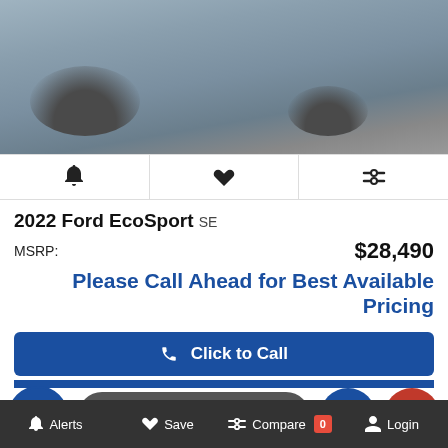[Figure (photo): Photo of a 2022 Ford EcoSport SE SUV, gray/blue color, viewed from the front-right angle, showing the wheel and front section on a paved surface]
🔔 ♥ ⇌ (icon bar: alert, save/heart, compare)
2022 Ford EcoSport SE
MSRP: $28,490
Please Call Ahead for Best Available Pricing
Click to Call
Value Your Trade
Alerts  Save  Compare 0  Login